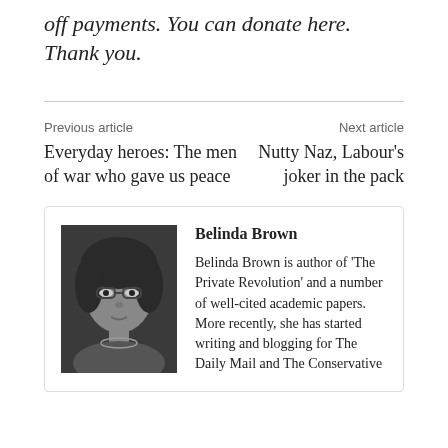off payments. You can donate here. Thank you.
Previous article
Everyday heroes: The men of war who gave us peace
Next article
Nutty Naz, Labour's joker in the pack
[Figure (photo): Black and white headshot photo of Belinda Brown, a woman with dark hair and glasses.]
Belinda Brown
Belinda Brown is author of 'The Private Revolution' and a number of well-cited academic papers. More recently, she has started writing and blogging for The Daily Mail and The Conservative